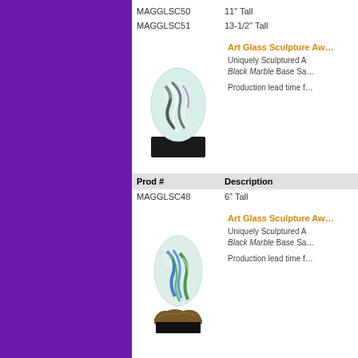| Prod # | Description |
| --- | --- |
| MAGGLSC50 | 11" Tall |
| MAGGLSC51 | 13-1/2" Tall |
[Figure (photo): Art Glass Sculpture Award on black marble base - egg shaped clear glass with swirling black, white, and purple interior design]
Art Glass Sculpture Aw...
Uniquely Sculptured A... Black Marble Base Sa...
Production lead time f...
| Prod # | Description |
| --- | --- |
| MAGGLSC48 | 6" Tall |
[Figure (photo): Art Glass Sculpture Award on black marble base - egg shaped clear glass with swirling blue and green interior design on a rough natural base]
Art Glass Sculpture Aw...
Uniquely Sculptured A... Black Marble Base Sa...
Production lead time f...